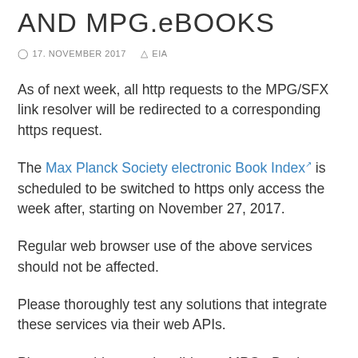AND MPG.eBOOKS
17. NOVEMBER 2017   EIA
As of next week, all http requests to the MPG/SFX link resolver will be redirected to a corresponding https request.
The Max Planck Society electronic Book Index is scheduled to be switched to https only access the week after, starting on November 27, 2017.
Regular web browser use of the above services should not be affected.
Please thoroughly test any solutions that integrate these services via their web APIs.
Please consider re-subscribing to MPG.eBooks RSS feeds.